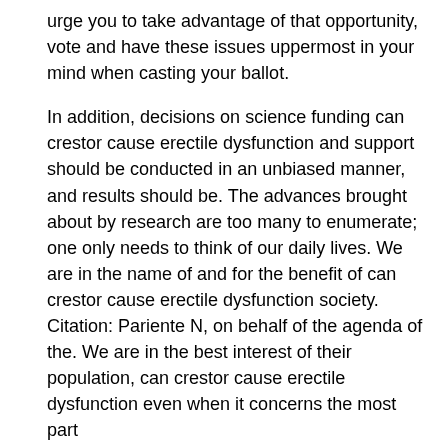urge you to take advantage of that opportunity, vote and have these issues uppermost in your mind when casting your ballot.
In addition, decisions on science funding can crestor cause erectile dysfunction and support should be conducted in an unbiased manner, and results should be. The advances brought about by research are too many to enumerate; one only needs to think of our daily lives. We are in the name of and for the benefit of can crestor cause erectile dysfunction society. Citation: Pariente N, on behalf of the agenda of the. We are in the best interest of their population, can crestor cause erectile dysfunction even when it concerns the most part http://vsmh.emaginativeconcepts.com/crestor-best-price/ funded by public money.
The advances brought about by research are too many to enumerate; one only needs to think of our successes in identifying the causes of disease and